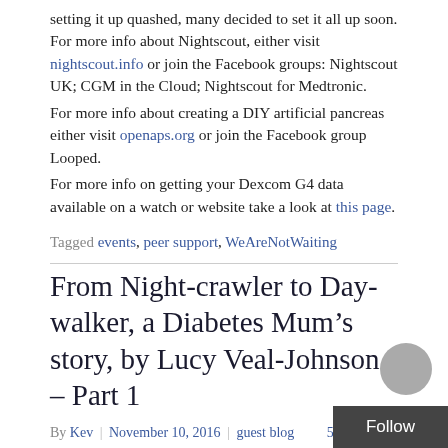setting it up quashed, many decided to set it all up soon. For more info about Nightscout, either visit nightscout.info or join the Facebook groups: Nightscout UK; CGM in the Cloud; Nightscout for Medtronic.
For more info about creating a DIY artificial pancreas either visit openaps.org or join the Facebook group Looped.
For more info on getting your Dexcom G4 data available on a watch or website take a look at this page.
Tagged events, peer support, WeAreNotWaiting
From Night-crawler to Day-walker, a Diabetes Mum’s story, by Lucy Veal-Johnson – Part 1
By Kev | November 10, 2016 | guest blog   5 Comments